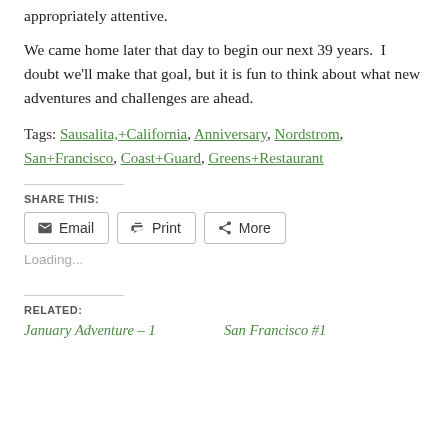appropriately attentive.
We came home later that day to begin our next 39 years.  I doubt we'll make that goal, but it is fun to think about what new adventures and challenges are ahead.
Tags: Sausalita,+California, Anniversary, Nordstrom, San+Francisco, Coast+Guard, Greens+Restaurant
SHARE THIS:
Email  Print  More
Loading...
RELATED:
January Adventure – 1   San Francisco #1